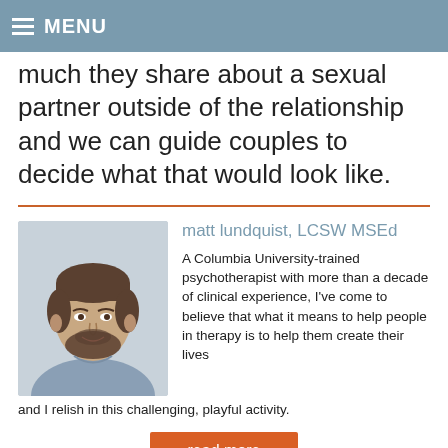MENU
much they share about a sexual partner outside of the relationship and we can guide couples to decide what that would look like.
[Figure (photo): Headshot of Matt Lundquist, a man with short brown hair and a beard, wearing a grey/blue sweater over a blue collared shirt, smiling against a light background.]
matt lundquist, LCSW MSEd
A Columbia University-trained psychotherapist with more than a decade of clinical experience, I've come to believe that what it means to help people in therapy is to help them create their lives and I relish in this challenging, playful activity.
read more